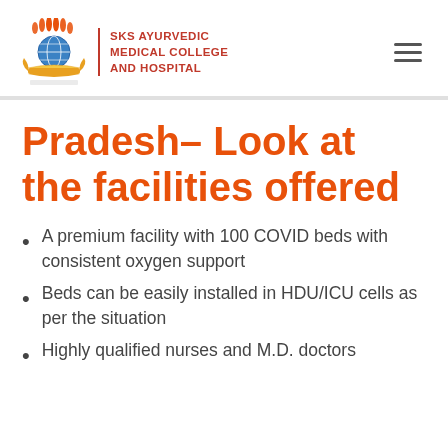SKS AYURVEDIC MEDICAL COLLEGE AND HOSPITAL
Pradesh– Look at the facilities offered
A premium facility with 100 COVID beds with consistent oxygen support
Beds can be easily installed in HDU/ICU cells as per the situation
Highly qualified nurses and M.D. doctors